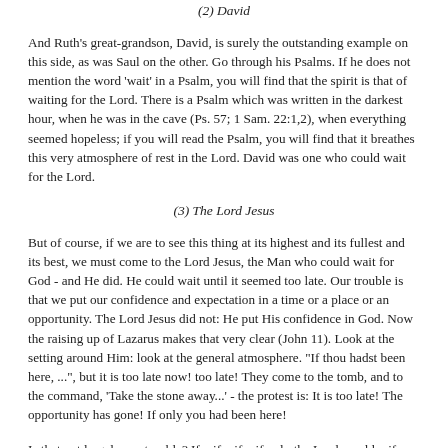(2) David
And Ruth's great-grandson, David, is surely the outstanding example on this side, as was Saul on the other. Go through his Psalms. If he does not mention the word 'wait' in a Psalm, you will find that the spirit is that of waiting for the Lord. There is a Psalm which was written in the darkest hour, when he was in the cave (Ps. 57; 1 Sam. 22:1,2), when everything seemed hopeless; if you will read the Psalm, you will find that it breathes this very atmosphere of rest in the Lord. David was one who could wait for the Lord.
(3) The Lord Jesus
But of course, if we are to see this thing at its highest and its fullest and its best, we must come to the Lord Jesus, the Man who could wait for God - and He did. He could wait until it seemed too late. Our trouble is that we put our confidence and expectation in a time or a place or an opportunity. The Lord Jesus did not: He put His confidence in God. Now the raising up of Lazarus makes that very clear (John 11). Look at the setting around Him: look at the general atmosphere. "If thou hadst been here, ...", but it is too late now! too late! They come to the tomb, and to the command, 'Take the stone away...' - the protest is: It is too late! The opportunity has gone! If only you had been here!
Is that not largely our trouble? If... if... if... if only the Lord would... if only the Lord would do this... if He would come just when we think He ought to. But the Lord Jesus was not resting in circumstances, not in events, He was resting in His Father. So He comes to the impossible situation, the 'too late' situation, and God works! God